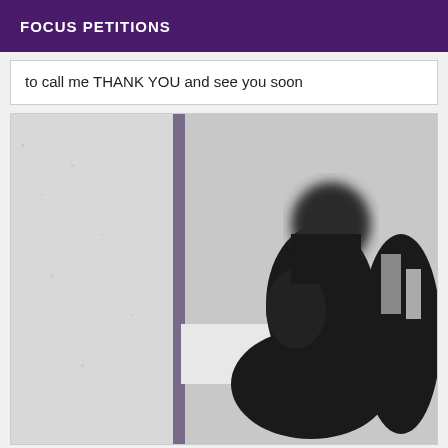FOCUS PETITIONS
to call me THANK YOU and see you soon
[Figure (photo): Black and white photograph of a person sitting, face blurred for anonymity, taken in what appears to be a hotel room.]